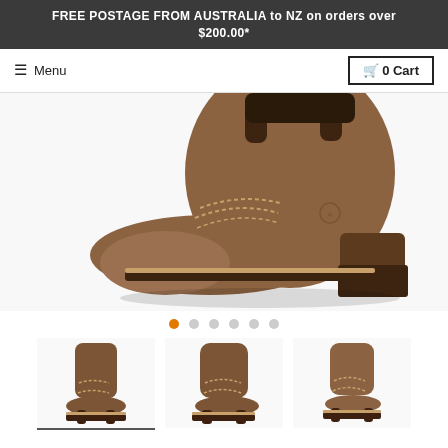FREE POSTAGE FROM AUSTRALIA to NZ on orders over $200.00*
☰ Menu   🛒 0 Cart
[Figure (photo): Close-up of a brown leather western cowboy boot showing the toe box, decorative stitching, stacked heel, and pull tabs, on white background.]
[Figure (photo): Thumbnail 1: Full view of brown leather cowboy western boot, front angle. Selected thumbnail (underlined).]
[Figure (photo): Thumbnail 2: Full view of brown leather cowboy western boot, side/front angle.]
[Figure (photo): Thumbnail 3: Full view of brown leather cowboy western boot, side angle.]